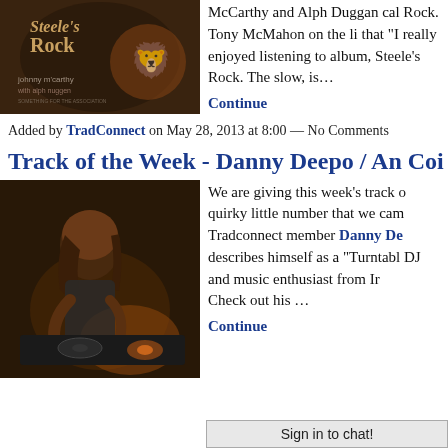[Figure (photo): Album cover for Steele's Rock by Johnny McCarthy with Alph Duggan, dark background with lion heraldry]
McCarthy and Alph Duggan cal Rock. Tony McMahon on the li that "I really enjoyed listening to album, Steele's Rock. The slow, is…
Continue
Added by TradConnect on May 28, 2013 at 8:00 — No Comments
Track of the Week - Danny Deepo / An Coi
[Figure (photo): Photo of Danny Deepo, a DJ working at turntables in a dark setting]
We are giving this week's track o quirky little number that we cam Tradconnect member Danny De describes himself as a "Turntabl DJ and music enthusiast from Ir Check out his … Continue
Sign in to chat!